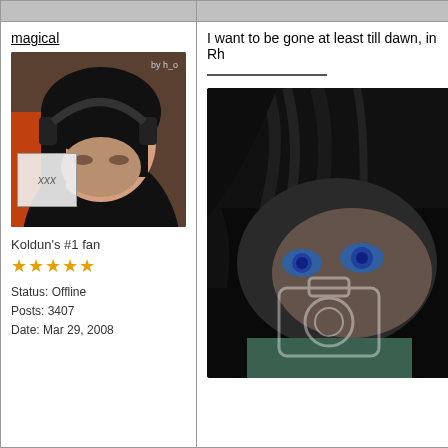magical
[Figure (photo): Avatar photo of a young person with dark hair wearing headphones, with a small overlay image showing 'xxx' text. Labeled 'by h_o' in corner.]
Koldun's #1 fan
★★★★★
Status: Offline
Posts: 3407
Date: Mar 29, 2008
I want to be gone at least till dawn, in Rh
[Figure (illustration): Dark digital illustration of a person with dark hair and blue/green eyes looking sideways, with a white camera icon overlay in the lower center.]